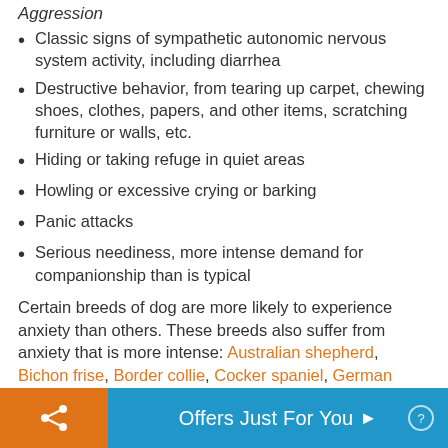Aggression
Classic signs of sympathetic autonomic nervous system activity, including diarrhea
Destructive behavior, from tearing up carpet, chewing shoes, clothes, papers, and other items, scratching furniture or walls, etc.
Hiding or taking refuge in quiet areas
Howling or excessive crying or barking
Panic attacks
Serious neediness, more intense demand for companionship than is typical
Certain breeds of dog are more likely to experience anxiety than others. These breeds also suffer from anxiety that is more intense: Australian shepherd, Bichon frise, Border collie, Cocker spaniel, German shepherd, Greyhound, Standard...
Offers Just For You